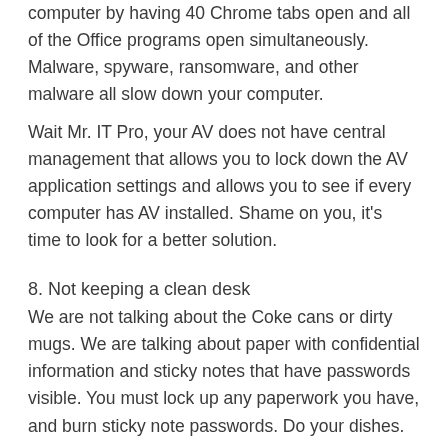computer by having 40 Chrome tabs open and all of the Office programs open simultaneously. Malware, spyware, ransomware, and other malware all slow down your computer.
Wait Mr. IT Pro, your AV does not have central management that allows you to lock down the AV application settings and allows you to see if every computer has AV installed. Shame on you, it's time to look for a better solution.
8. Not keeping a clean desk
We are not talking about the Coke cans or dirty mugs. We are talking about paper with confidential information and sticky notes that have passwords visible. You must lock up any paperwork you have, and burn sticky note passwords. Do your dishes.
9. They can install any software they wish
Different companies have different policies. Some restrict